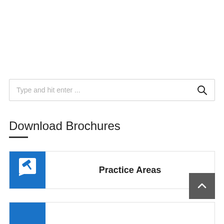Type and hit enter ...
Download Brochures
Practice Areas
[Figure (other): Scroll to top button with upward chevron arrow on dark gray background]